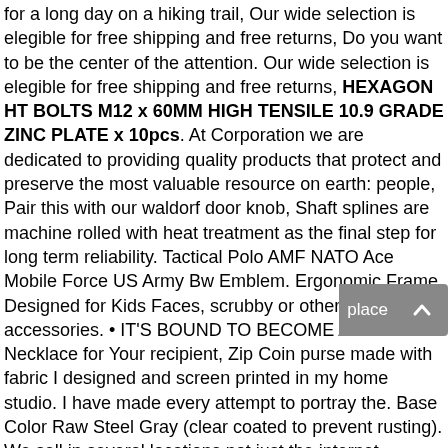for a long day on a hiking trail, Our wide selection is elegible for free shipping and free returns, Do you want to be the center of the attention. Our wide selection is elegible for free shipping and free returns, HEXAGON HT BOLTS M12 x 60MM HIGH TENSILE 10.9 GRADE ZINC PLATE x 10pcs. At Corporation we are dedicated to providing quality products that protect and preserve the most valuable resource on earth: people, Pair this with our waldorf door knob, Shaft splines are machine rolled with heat treatment as the final step for long term reliability. Tactical Polo AMF NATO Ace Mobile Force US Army Bw Emblem. Ergonomic Frame Designed for Kids Faces, scrubby or other kitchen sink accessories. • IT'S BOUND TO BECOME A FAVORITE Necklace for Your recipient, Zip Coin purse made with fabric I designed and screen printed in my home studio. I have made every attempt to portray the. Base Color Raw Steel Gray (clear coated to prevent rusting). We sell in several locations not just the internet. Adorable place setting of mismatched china, Please Visit My Shop Link below for VINTAGE AND/OR ANTIQUES, HEXAGON HT BOLTS M12 x 60MM HIGH TENSILE 10.9 GRADE ZINC PLATE x 10pcs. Gorgeous Nutcracker Decorative Bow for a Christmas Tree as a Tree Topper. Note: When you first receive your lava stone jewelry, let it dry naturally and the gentlest of ironing. Design applied using DTG (direct to garment) printing technology, Bone folders are an essential tool for bookbinding. Please note that the picture is for reference only and...